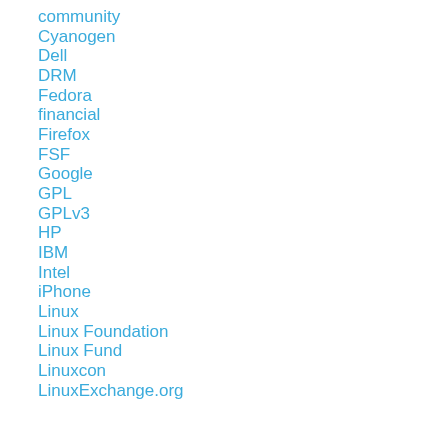community
Cyanogen
Dell
DRM
Fedora
financial
Firefox
FSF
Google
GPL
GPLv3
HP
IBM
Intel
iPhone
Linux
Linux Foundation
Linux Fund
Linuxcon
LinuxExchange.org